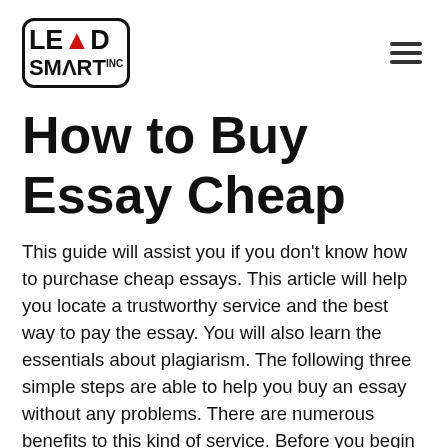[Figure (logo): Lead Smart Inc. logo — bordered rounded rectangle with red arrow A in LEAD and SMART INC text below]
How to Buy Essay Cheap
This guide will assist you if you don't know how to purchase cheap essays. This article will help you locate a trustworthy service and the best way to pay the essay. You will also learn the essentials about plagiarism. The following three simple steps are able to help you buy an essay without any problems. There are numerous benefits to this kind of service. Before you begin it's essential that you are aware of the procedure. It is not a good idea to get left with poor quality papers that will be rejected in the future or create